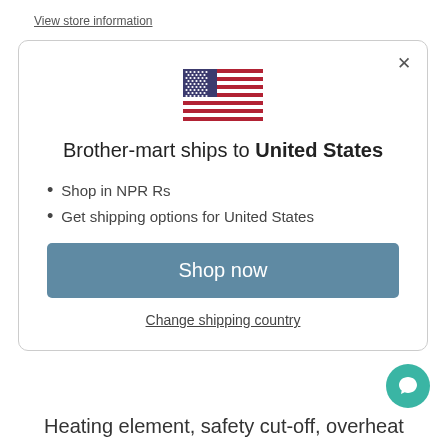View store information
[Figure (illustration): Modal dialog with US flag, shipping info, and shop now button]
Brother-mart ships to United States
Shop in NPR Rs
Get shipping options for United States
Shop now
Change shipping country
Heating element, safety cut-off, overheat